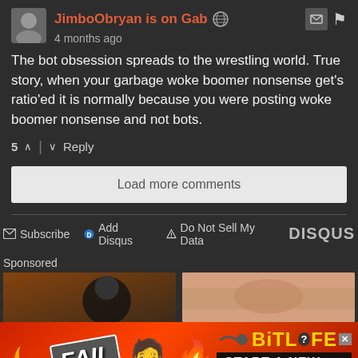JimboObryan is on Gab
4 months ago
The bot obsession spreads to the wrestling world. True story, when your garbage woke boomer nonsense get's ratio'ed it is normally because you were posting woke boomer nonsense and not bots.
5  Reply
Load more comments
Subscribe  Add Disqus  Do Not Sell My Data  DISQUS
Sponsored
[Figure (screenshot): BitLife advertisement banner with FAIL text, facepalm emoji, fire emoji, sperm icon, and text START A NEW LIFE]